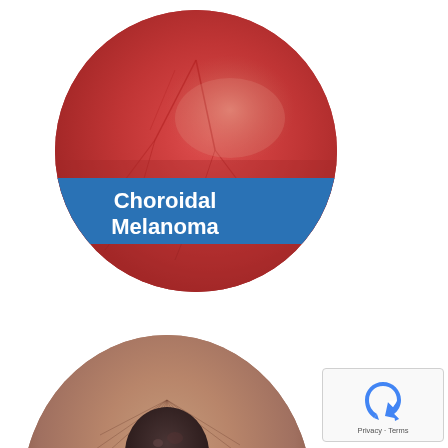[Figure (photo): Retinal fundus photograph showing a circular view of the eye interior with reddish-orange background. A blue banner across the lower portion of the circle reads 'Choroidal Melanoma' in white text. The image shows subtle lighter area suggesting a choroidal lesion.]
[Figure (photo): Partial view of an eyeball showing the front of the eye (anterior segment) with a visible dark central pupil and brownish iris, showing radial striations. Only the upper half of the eye is visible, cropped at the bottom of the page.]
[Figure (other): reCAPTCHA widget overlay in bottom-right corner with Privacy and Terms text.]